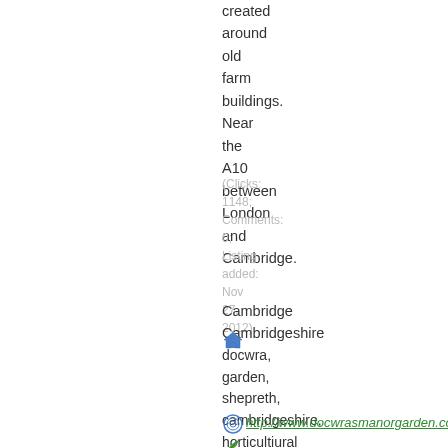created around old farm buildings. Near the A10 between London and Cambridge.
(Clicks: 1148; Comments: 0; Listing added: Nov 27, 2012)
Cambridge Cambridgeshire
docwra, garden, shepreth, cambridgeshire, horticultiural
http://www.docwrasmanorgarden.co.uk